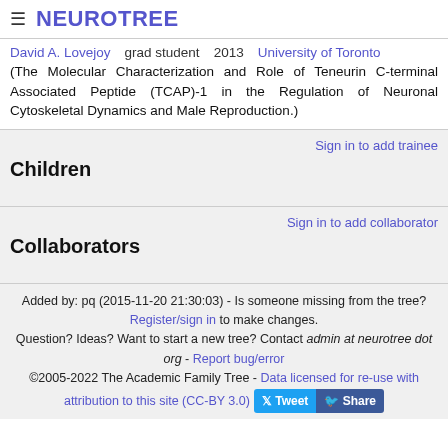☰ NEUROTREE
David A. Lovejoy   grad student   2013   University of Toronto
(The Molecular Characterization and Role of Teneurin C-terminal Associated Peptide (TCAP)-1 in the Regulation of Neuronal Cytoskeletal Dynamics and Male Reproduction.)
Children
Sign in to add trainee
Collaborators
Sign in to add collaborator
Added by: pq (2015-11-20 21:30:03) - Is someone missing from the tree? Register/sign in to make changes. Question? Ideas? Want to start a new tree? Contact admin at neurotree dot org - Report bug/error ©2005-2022 The Academic Family Tree - Data licensed for re-use with attribution to this site (CC-BY 3.0)